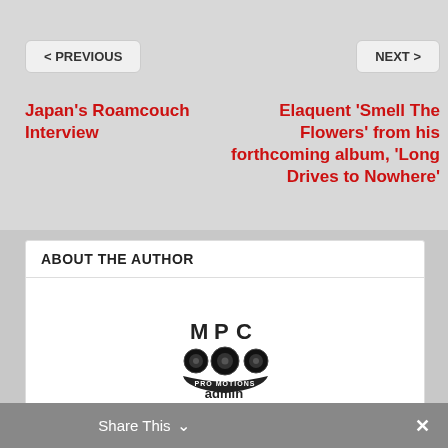< PREVIOUS
NEXT >
Japan’s Roamcouch Interview
Elaquent ‘Smell The Flowers’ from his forthcoming album, ‘Long Drives to Nowhere’
ABOUT THE AUTHOR
[Figure (logo): MPC Promotions logo with speaker graphics and text 'PRO MOTIONS']
admin
Share This   ∨   ×